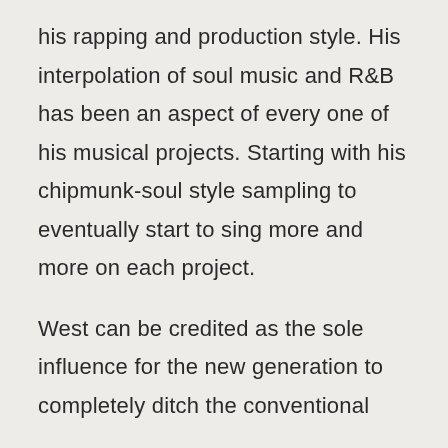his rapping and production style. His interpolation of soul music and R&B has been an aspect of every one of his musical projects. Starting with his chipmunk-soul style sampling to eventually start to sing more and more on each project.
West can be credited as the sole influence for the new generation to completely ditch the conventional